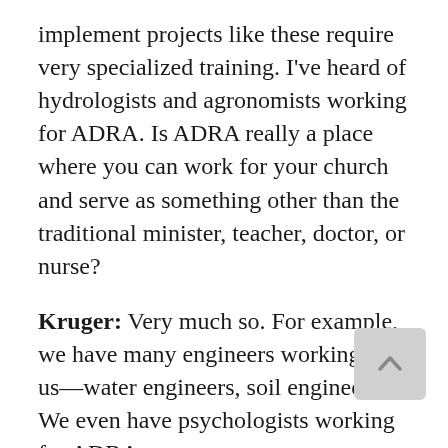implement projects like these require very specialized training. I've heard of hydrologists and agronomists working for ADRA. Is ADRA really a place where you can work for your church and serve as something other than the traditional minister, teacher, doctor, or nurse?
Kruger: Very much so. For example, we have many engineers working for us—water engineers, soil engineers. We even have psychologists working for ADRA.
Knott: Psychologists?
Kruger: Because we do a lot of